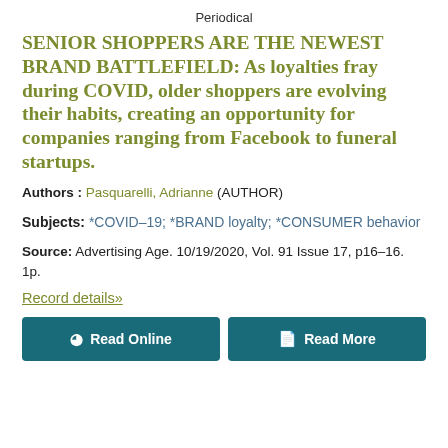Periodical
SENIOR SHOPPERS ARE THE NEWEST BRAND BATTLEFIELD: As loyalties fray during COVID, older shoppers are evolving their habits, creating an opportunity for companies ranging from Facebook to funeral startups.
Authors : Pasquarelli, Adrianne (AUTHOR)
Subjects: *COVID-19; *BRAND loyalty; *CONSUMER behavior
Source: Advertising Age. 10/19/2020, Vol. 91 Issue 17, p16-16. 1p.
Record details»
Read Online | Read More